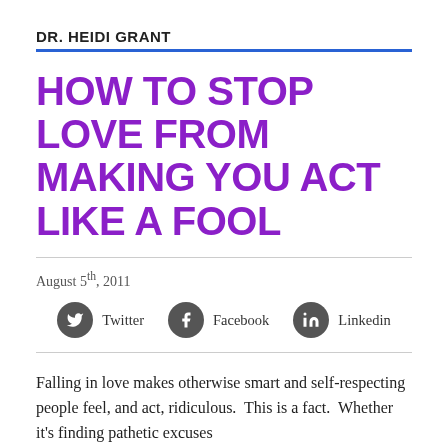DR. HEIDI GRANT
HOW TO STOP LOVE FROM MAKING YOU ACT LIKE A FOOL
August 5th, 2011
[Figure (infographic): Social sharing buttons row with Twitter, Facebook, and Linkedin icons as dark circles with white logos]
Falling in love makes otherwise smart and self-respecting people feel, and act, ridiculous.  This is a fact.  Whether it’s finding pathetic excuses